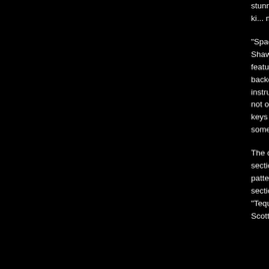stunning complexity. What gives them an extra edge is the songwriting: Lehner and Christie are certainly the kind who keep the music heavy, aggressive and fresh. They write their parts with taste and groove, never overplaying for a mini-second.

"Space Race" exemplifies the above-made description: burning guitar runs blended with sublime keyboards and grooving bass. Shawn Christie plays all bass on the record, but the track features three different guys, Josh Gasior, Tim Lloyd, and Br... features Josh Gasior, whose work appeals to me th... supplies precise drum parts along with Christie's gr... backdrop of the track as Lehner and Christie perfor... main their instruments. Immediately after, Tim Lehn... minute instrumental piece on his piano. "You Say" is... showcasing Tim's great guitar work and his underst... of this duo is not only the playing, but it lies in the in... and Tim Lehner do. "Dizzle Tizzle" goes back to the ... approach with the keys serving as atmospheric elem... loose here. The heaviness factor of this band is for... fusion fans who want something different from most...

The centrepiece of the CD is the 9-minute fusion-la... supported by lush keyboard textures and powerful r... section of the songs stops to a calm mood, almost p... pushed in an unexpected direction thanks to the gre... patterns. "Ten Fifteen" is a slow ballad with Pete Jo... saxophone for a brief moment. Derek Sherinian (he... section of the booklet), Planet X, Allan Holdsworth,... fusion-y stuff are obvious reference points to detail ... range. "Tequila Mockingbird" is a song that shows th... contains a long, slow, delicate jazz piano with restra... Christie. Scott McGill (McGill-Manring-Stevens) play...